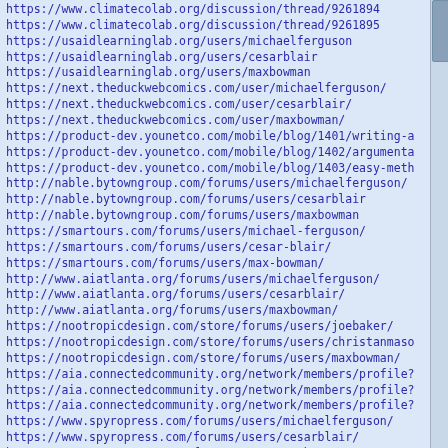https://www.climatecolab.org/discussion/thread/9261894
https://www.climatecolab.org/discussion/thread/9261895
https://usaidlearninglab.org/users/michaelferguson
https://usaidlearninglab.org/users/cesarblair
https://usaidlearninglab.org/users/maxbowman
https://next.theduckwebcomics.com/user/michaelferguson/
https://next.theduckwebcomics.com/user/cesarblair/
https://next.theduckwebcomics.com/user/maxbowman/
https://product-dev.younetco.com/mobile/blog/1401/writing-a
https://product-dev.younetco.com/mobile/blog/1402/argumenta
https://product-dev.younetco.com/mobile/blog/1403/easy-meth
http://nable.bytowngroup.com/forums/users/michaelferguson/
http://nable.bytowngroup.com/forums/users/cesarblair
http://nable.bytowngroup.com/forums/users/maxbowman
https://smartours.com/forums/users/michael-ferguson/
https://smartours.com/forums/users/cesar-blair/
https://smartours.com/forums/users/max-bowman/
http://www.aiatlanta.org/forums/users/michaelferguson/
http://www.aiatlanta.org/forums/users/cesarblair/
http://www.aiatlanta.org/forums/users/maxbowman/
https://nootropicdesign.com/store/forums/users/joebaker/
https://nootropicdesign.com/store/forums/users/christanmaso
https://nootropicdesign.com/store/forums/users/maxbowman/
https://aia.connectedcommunity.org/network/members/profile?
https://aia.connectedcommunity.org/network/members/profile?
https://aia.connectedcommunity.org/network/members/profile?
https://www.spyropress.com/forums/users/michaelferguson/
https://www.spyropress.com/forums/users/cesarblair/
https://www.spyropress.com/forums/users/maxbowman/
https://www.jobsweb.com/profile/michael-ferguson/1590480/